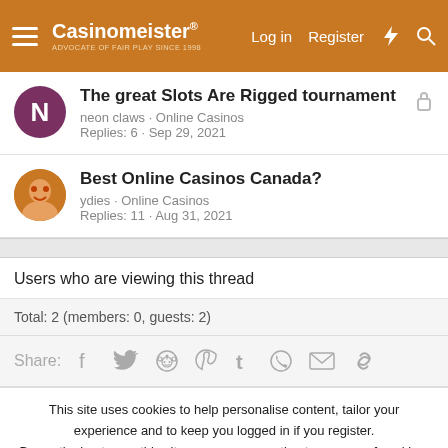Casinomeister® — Log in | Register
The great Slots Are Rigged tournament
neon claws · Online Casinos
Replies: 6 · Sep 29, 2021
Best Online Casinos Canada?
ydies · Online Casinos
Replies: 11 · Aug 31, 2021
Users who are viewing this thread
Total: 2 (members: 0, guests: 2)
Share:
This site uses cookies to help personalise content, tailor your experience and to keep you logged in if you register.
By continuing to use this site, you are consenting to our use of cookies.